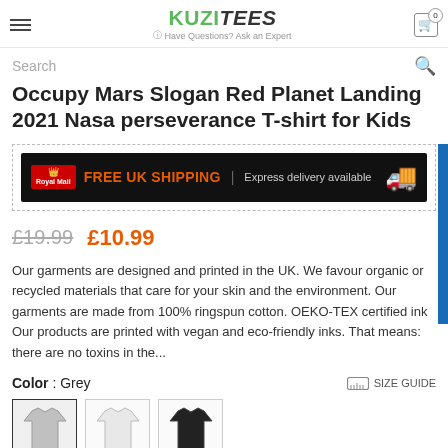KUZITEES | Have Questions? Ask an Expert
Search
Occupy Mars Slogan Red Planet Landing 2021 Nasa perseverance T-shirt for Kids
[Figure (infographic): Royal Mail FREE UK SHIPPING | Express delivery available banner with truck icon]
£19.99  £10.99
Our garments are designed and printed in the UK. We favour organic or recycled materials that care for your skin and the environment. Our garments are made from 100% ringspun cotton. OEKO-TEX certified ink Our products are printed with vegan and eco-friendly inks. That means: there are no toxins in the...
Color : Grey
SIZE GUIDE
[Figure (photo): Three thumbnail images of kids wearing t-shirts in grey, white, and black]